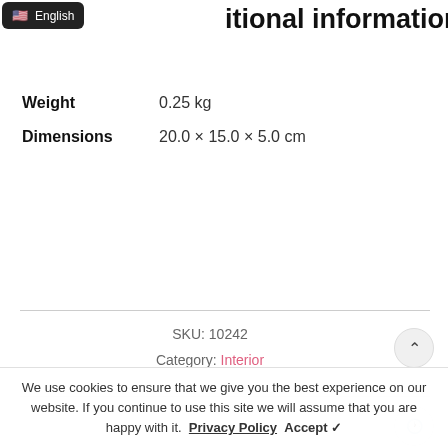Additional information
| Attribute | Value |
| --- | --- |
| Weight | 0.25 kg |
| Dimensions | 20.0 × 15.0 × 5.0 cm |
SKU: 10242
Category: Interior
Related Products
We use cookies to ensure that we give you the best experience on our website. If you continue to use this site we will assume that you are happy with it.  Privacy Policy  Accept ✓